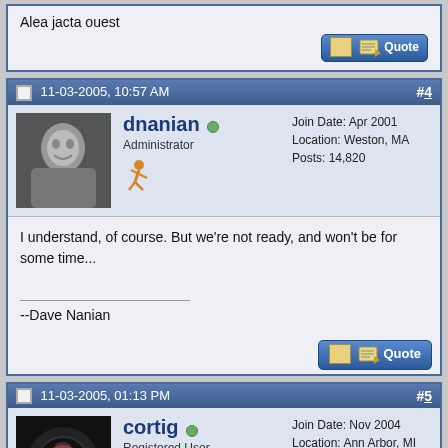Alea jacta ouest
11-03-2005, 10:57 AM  #4
dnanian  Administrator
Join Date: Apr 2001
Location: Weston, MA
Posts: 14,820
I understand, of course. But we're not ready, and won't be for some time...
--Dave Nanian
11-03-2005, 01:13 PM  #5
cortig  Registered User
Join Date: Nov 2004
Location: Ann Arbor, MI
Posts: 74
Quote:
Originally Posted by dnanian
I understand, of course. But we're not ready, and won't be for some time...